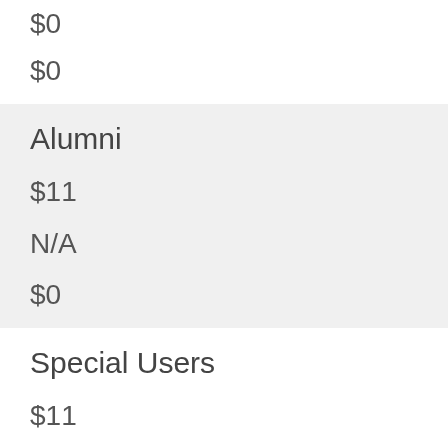$0
$0
Alumni
$11
N/A
$0
Special Users
$11
N/A